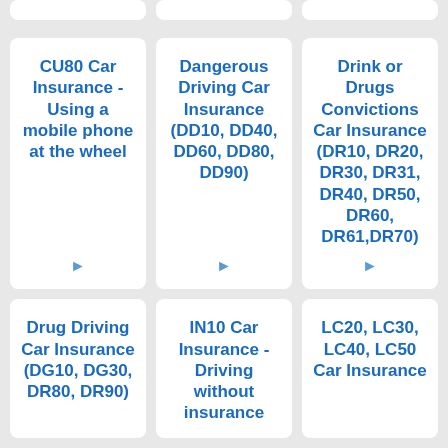[Figure (other): Partial top strip showing three truncated card tops]
CU80 Car Insurance - Using a mobile phone at the wheel
Dangerous Driving Car Insurance (DD10, DD40, DD60, DD80, DD90)
Drink or Drugs Convictions Car Insurance (DR10, DR20, DR30, DR31, DR40, DR50, DR60, DR61,DR70)
Drug Driving Car Insurance (DG10, DG30, DR80, DR90)
IN10 Car Insurance - Driving without insurance
LC20, LC30, LC40, LC50 Car Insurance